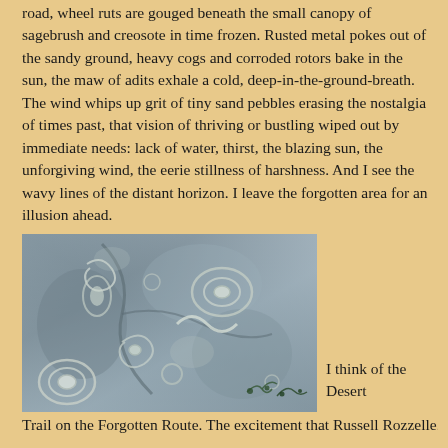road, wheel ruts are gouged beneath the small canopy of sagebrush and creosote in time frozen. Rusted metal pokes out of the sandy ground, heavy cogs and corroded rotors bake in the sun, the maw of adits exhale a cold, deep-in-the-ground-breath. The wind whips up grit of tiny sand pebbles erasing the nostalgia of times past, that vision of thriving or bustling wiped out by immediate needs: lack of water, thirst, the blazing sun, the unforgiving wind, the eerie stillness of harshness. And I see the wavy lines of the distant horizon. I leave the forgotten area for an illusion ahead.
[Figure (photo): Close-up photograph of a rocky surface with fossil-like circular spiral patterns embedded in grey stone, with a small plant visible at the lower right corner.]
I think of the Desert Trail on the Forgotten Route. The excitement that Russell Rozzelle...